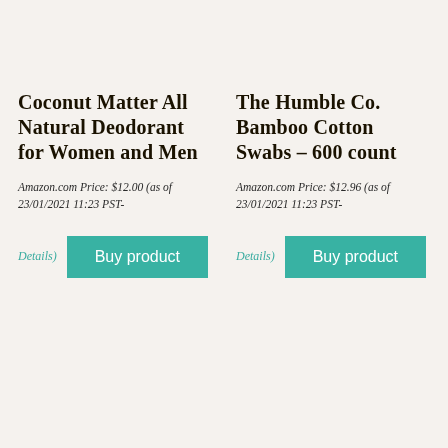Coconut Matter All Natural Deodorant for Women and Men
Amazon.com Price: $12.00 (as of 23/01/2021 11:23 PST-
Details) Buy product
The Humble Co. Bamboo Cotton Swabs – 600 count
Amazon.com Price: $12.96 (as of 23/01/2021 11:23 PST-
Details) Buy product